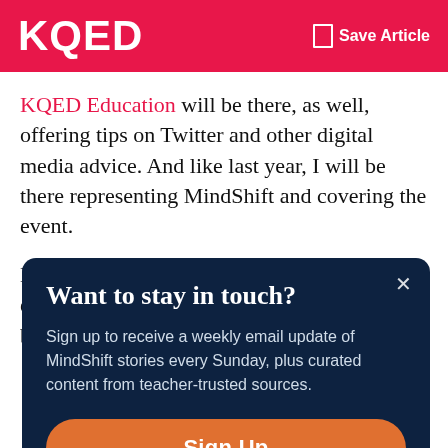KQED    Save Article
KQED Education will be there, as well, offering tips on Twitter and other digital media advice. And like last year, I will be there representing MindShift and covering the event.
Last year's event was a phenomenal experience, full of high-concept and practical big ideas.
Want to stay in touch?
Sign up to receive a weekly email update of MindShift stories every Sunday, plus curated content from teacher-trusted sources.
Sign Up